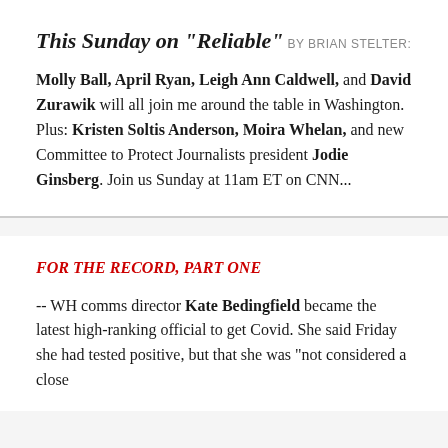This Sunday on "Reliable"
BY BRIAN STELTER:
Molly Ball, April Ryan, Leigh Ann Caldwell, and David Zurawik will all join me around the table in Washington. Plus: Kristen Soltis Anderson, Moira Whelan, and new Committee to Protect Journalists president Jodie Ginsberg. Join us Sunday at 11am ET on CNN...
FOR THE RECORD, PART ONE
-- WH comms director Kate Bedingfield became the latest high-ranking official to get Covid. She said Friday she had tested positive, but that she was "not considered a close...